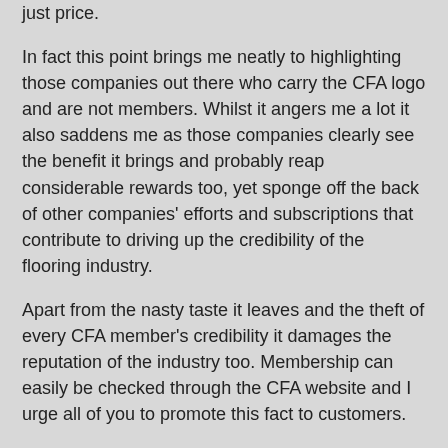just price.
In fact this point brings me neatly to highlighting those companies out there who carry the CFA logo and are not members. Whilst it angers me a lot it also saddens me as those companies clearly see the benefit it brings and probably reap considerable rewards too, yet sponge off the back of other companies' efforts and subscriptions that contribute to driving up the credibility of the flooring industry.
Apart from the nasty taste it leaves and the theft of every CFA member's credibility it damages the reputation of the industry too. Membership can easily be checked through the CFA website and I urge all of you to promote this fact to customers.
Why not mention the CFA website check on any communications and tenders as you may raise a little suspicion and prompt a check of those other quotes that sit alongside yours on the selection criteria table.
If you know of anyone who is using the CFA logo and is not a member, we would be interested to know via an email to